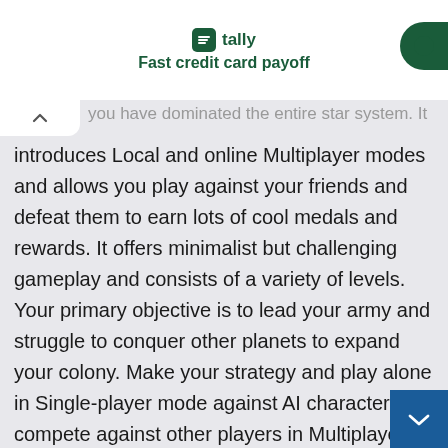tally Fast credit card payoff
you have dominated the entire star system. It introduces Local and online Multiplayer modes and allows you play against your friends and defeat them to earn lots of cool medals and rewards. It offers minimalist but challenging gameplay and consists of a variety of levels. Your primary objective is to lead your army and struggle to conquer other planets to expand your colony. Make your strategy and play alone in Single-player mode against AI characters or compete against other players in Multiplayer mode for the highest scores. Auralux: Constellations offers cor